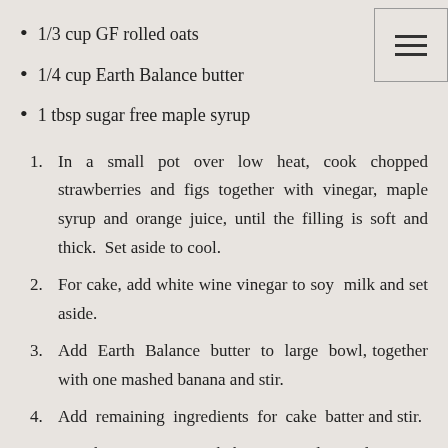1/3 cup GF rolled oats
1/4 cup Earth Balance butter
1 tbsp sugar free maple syrup
1.  In a small pot over low heat, cook chopped strawberries and figs together with vinegar, maple syrup and orange juice, until the filling is soft and thick.  Set aside to cool.
2. For cake, add white wine vinegar to soy  milk and set aside.
3. Add  Earth  Balance  butter  to  large  bowl, together with one mashed banana and stir.
4. Add  remaining  ingredients  for  cake  batter and stir.
5. Pour batter into square baking pan and spread